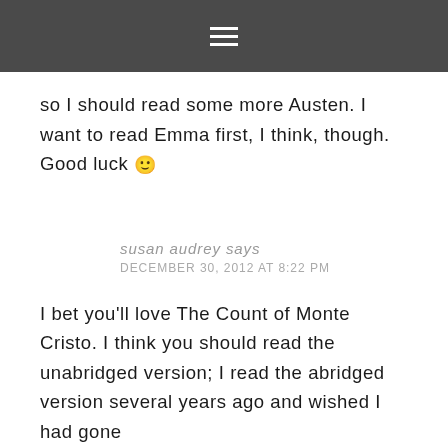≡
so I should read some more Austen. I want to read Emma first, I think, though. Good luck 🙂
susan audrey says
DECEMBER 30, 2012 AT 8:22 PM
I bet you'll love The Count of Monte Cristo. I think you should read the unabridged version; I read the abridged version several years ago and wished I had gone